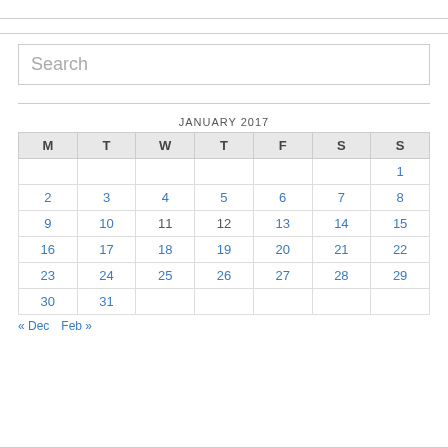Search
| M | T | W | T | F | S | S |
| --- | --- | --- | --- | --- | --- | --- |
|  |  |  |  |  |  | 1 |
| 2 | 3 | 4 | 5 | 6 | 7 | 8 |
| 9 | 10 | 11 | 12 | 13 | 14 | 15 |
| 16 | 17 | 18 | 19 | 20 | 21 | 22 |
| 23 | 24 | 25 | 26 | 27 | 28 | 29 |
| 30 | 31 |  |  |  |  |  |
« Dec   Feb »